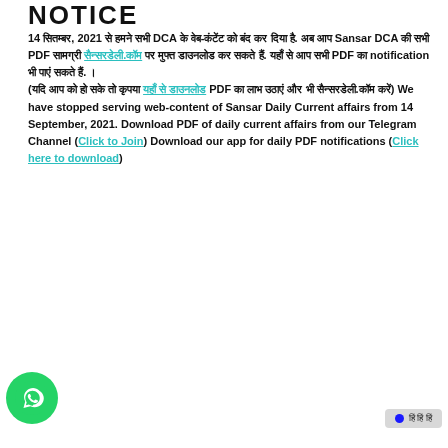NOTICE
14 सितम्बर, 2021 से हमने सभी DCA के वेब-कंटेंट को बंद कर दिया है. अब आप Sansar DCA की सभी PDF सामग्री सैन्सरडेली.कॉम पर मुफ्त डाउनलोड कर सकते हैं. यहाँ से आप सभी PDF का notification भी पाएं सकते हैं. ।(यदि आप को हो सके तो कृपया यहाँ से डाउनलोड PDF का लाभ उठाएं और भी सैन्सरडेली.कॉम करें) We have stopped serving web-content of Sansar Daily Current affairs from 14 September, 2021. Download PDF of daily current affairs from our Telegram Channel (Click to Join) Download our app for daily PDF notifications (Click here to download)